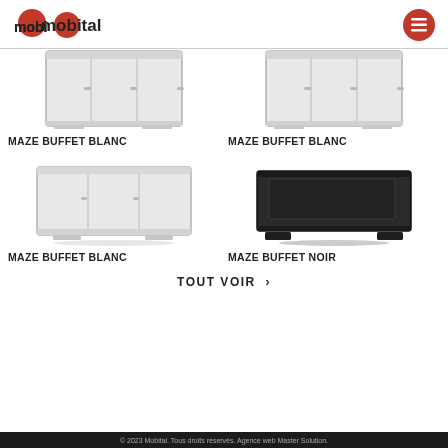[Figure (logo): Mobital logo with red circle and text]
[Figure (photo): Maze Buffet Blanc - tall white buffet cabinet, partial top view]
[Figure (photo): Maze Buffet Blanc - tall white buffet cabinet, partial top view (second)]
MAZE BUFFET BLANC
MAZE BUFFET BLANC
[Figure (photo): Maze Buffet Blanc - wide white buffet sideboard]
[Figure (photo): Maze Buffet Noir - wide black buffet sideboard]
MAZE BUFFET BLANC
MAZE BUFFET NOIR
TOUT VOIR >
© 2023 Mobital. Tous droits réservés. Agence web Master Solution.